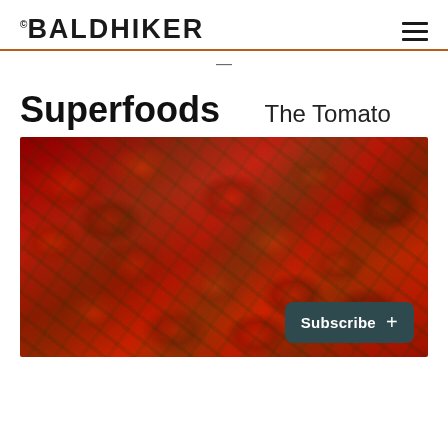BALDHIKER
Superfoods
The Tomato
[Figure (photo): Close-up photo of many halved cherry tomatoes with sprigs of fresh thyme scattered throughout, all glistening with oil]
Subscribe +